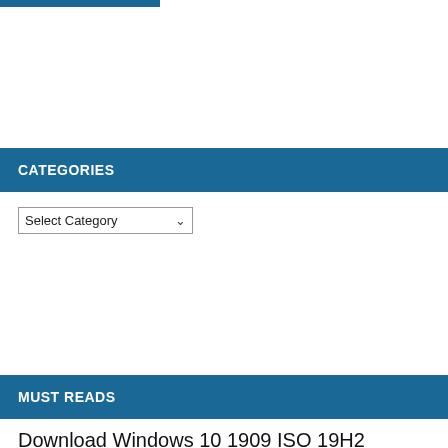[Figure (other): Blue horizontal bar at the top of the page, partial width]
CATEGORIES
[Figure (screenshot): Select Category dropdown widget]
MUST READS
Download Windows 10 1909 ISO 19H2